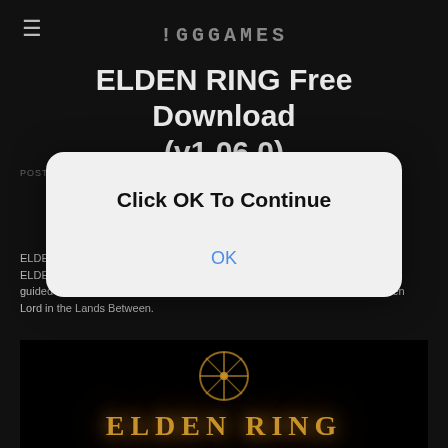≡  !GGGAMES
ELDEN RING Free Download (v1.06.0)
POSTED BY  ACTION, ROLAND, GAME, RPG.
ELDEN RING Free Download PC Game Cracked in Direct Link and Torrent. ELDEN RING IS THE NEW FANTASY ACTION RPG. Rise, Tarnished, and be guided by grace to brandish the power of the Elden Ring and become an Elden Lord in the Lands Between.
[Figure (screenshot): Elden Ring game logo with golden glowing emblem on dark background]
[Figure (screenshot): Modal dialog box with 'Click OK To Continue' heading and an OK button]